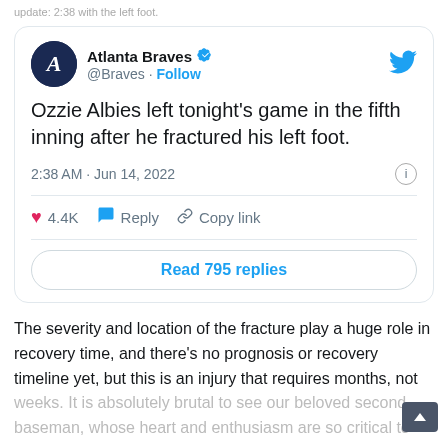update: 2:38 with the left foot.
[Figure (screenshot): Embedded tweet from Atlanta Braves (@Braves) with verified checkmark and Follow button. Tweet text: 'Ozzie Albies left tonight's game in the fifth inning after he fractured his left foot.' Timestamp: 2:38 AM · Jun 14, 2022. Shows 4.4K likes, Reply, Copy link actions, and a 'Read 795 replies' button.]
The severity and location of the fracture play a huge role in recovery time, and there's no prognosis or recovery timeline yet, but this is an injury that requires months, not weeks. It is absolutely brutal to see our beloved second baseman, whose heart and enthusiasm are so critical to